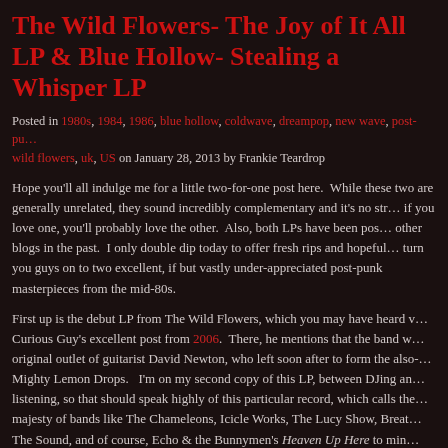The Wild Flowers- The Joy of It All LP & Blue Hollow- Stealing a Whisper LP
Posted in 1980s, 1984, 1986, blue hollow, coldwave, dreampop, new wave, post-punk, wild flowers, uk, US on January 28, 2013 by Frankie Teardrop
Hope you'll all indulge me for a little two-for-one post here. While these two are generally unrelated, they sound incredibly complementary and it's no strange if you love one, you'll probably love the other. Also, both LPs have been posted other blogs in the past. I only double dip today to offer fresh rips and hopefully turn you guys on to two excellent, if but vastly under-appreciated post-punk masterpieces from the mid-80s.
First up is the debut LP from The Wild Flowers, which you may have heard via Curious Guy's excellent post from 2006. There, he mentions that the band was the original outlet of guitarist David Newton, who left soon after to form the also-great Mighty Lemon Drops. I'm on my second copy of this LP, between DJing and listening, so that should speak highly of this particular record, which calls the majesty of bands like The Chameleons, Icicle Works, The Lucy Show, Breathe, The Sound, and of course, Echo & the Bunnymen's Heaven Up Here to mind. You can grab their first two 7's here. I do have the third LP, 1988's Sometime So... It's been a while since I've heard it so I don't remember how it stacks up, but I'm interested in hearing 1987's Dust.
The second LP is the one and only release by Blue Hollow, who rose from the ashes of Gluons, a darker and more dissonant band from Massachusetts. Stealing a Whisper, which was released three years later, would shed much of the caco...